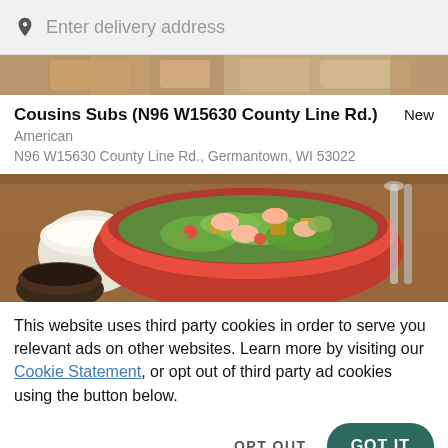Enter delivery address
[Figure (photo): Thin strip of food photos at the top of the restaurant listing]
Cousins Subs (N96 W15630 County Line Rd.)
New
American
N96 W15630 County Line Rd., Germantown, WI 53022
[Figure (photo): Food photo showing a red bowl filled with shrimp salad with lettuce, croutons, tomatoes, alongside a white sauce cup and dark sauce cup on a wooden table]
This website uses third party cookies in order to serve you relevant ads on other websites. Learn more by visiting our Cookie Statement, or opt out of third party ad cookies using the button below.
OPT OUT
GOT IT